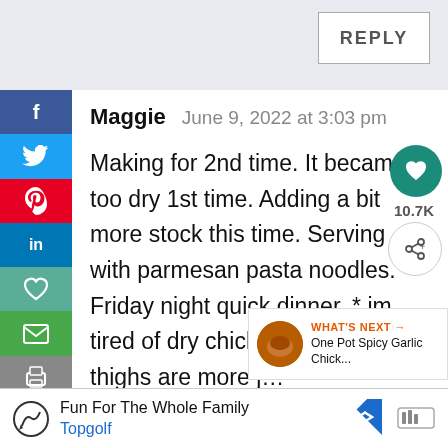REPLY
Maggie   June 9, 2022 at 3:03 pm
Making for 2nd time. It became too dry 1st time. Adding a bit more stock this time. Serving with parmesan pasta noodles. Friday night quick dinner. * im tired of dry chicken breasts* so thighs are more j…
[Figure (screenshot): What's Next overlay showing One Pot Spicy Garlic Chick... thumbnail]
Fun For The Whole Family Topgolf